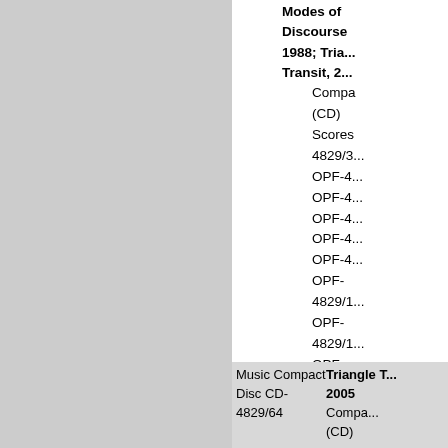Modes of Discourse 1988; Triangle Transit, 2...
Compa... (CD)
Scores 4829/3... OPF-4... OPF-4... OPF-4... OPF-4... OPF-4... OPF-4829/1... OPF-4829/1... OPF-4829/1... OPF-4829/1...
| Music Compact Disc CD-4829/64 | Triangle T... 2005 |
| --- | --- |
|  | Compa... (CD) |
|  | Scores 4829/... |